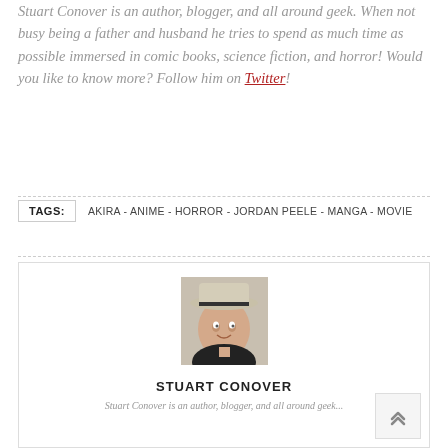Stuart Conover is an author, blogger, and all around geek. When not busy being a father and husband he tries to spend as much time as possible immersed in comic books, science fiction, and horror! Would you like to know more? Follow him on Twitter!
TAGS: AKIRA - ANIME - HORROR - JORDAN PEELE - MANGA - MOVIE
[Figure (photo): Portrait photo of Stuart Conover wearing a hat and dark clothing]
STUART CONOVER
Stuart Conover is an author, blogger, and...